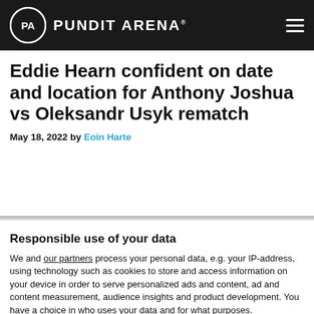PUNDIT ARENA
Eddie Hearn confident on date and location for Anthony Joshua vs Oleksandr Usyk rematch
May 18, 2022 by Eoin Harte
Responsible use of your data
We and our partners process your personal data, e.g. your IP-address, using technology such as cookies to store and access information on your device in order to serve personalized ads and content, ad and content measurement, audience insights and product development. You have a choice in who uses your data and for what purposes.